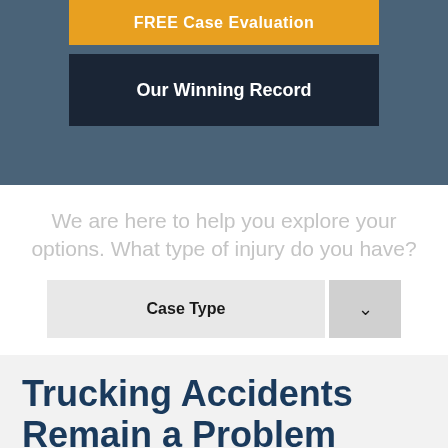FREE Case Evaluation
Our Winning Record
We are here to help you explore your options. What type of injury do you have?
Case Type
Trucking Accidents Remain a Problem